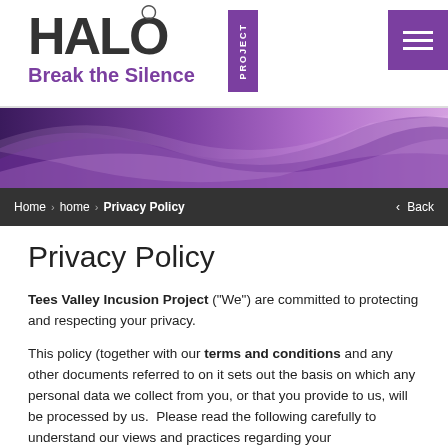[Figure (logo): HALO Project logo with 'Break the Silence' tagline in purple, with PROJECT badge on the side and a hamburger menu button in purple on the top right]
[Figure (illustration): Purple abstract wave/ribbon banner image across the full width]
Home › home › Privacy Policy   ‹ Back
Privacy Policy
Tees Valley Incusion Project ("We") are committed to protecting and respecting your privacy.
This policy (together with our terms and conditions and any other documents referred to on it sets out the basis on which any personal data we collect from you, or that you provide to us, will be processed by us.  Please read the following carefully to understand our views and practices regarding your